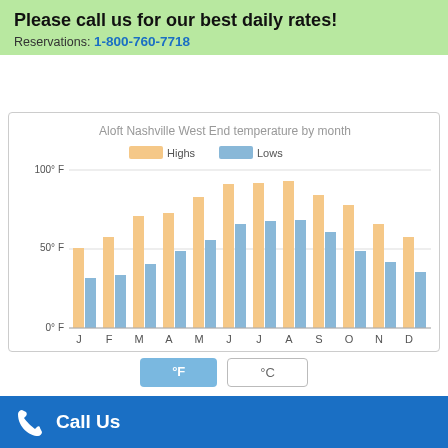Please call us for our best daily rates!
Reservations: 1-800-760-7718
[Figure (grouped-bar-chart): Aloft Nashville West End temperature by month]
°F
°C
Call Us